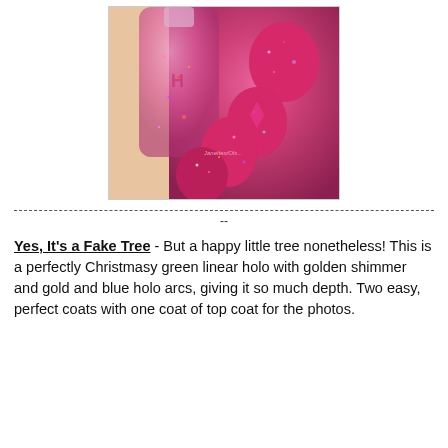[Figure (photo): Close-up photo of hands with pink/magenta glitter nail polish applied, next to a bottle of the same glitter nail polish. The nails show a vibrant hot pink color with multi-colored glitter and holographic sparkle. A watermark reads 'Janettes/Ols...' in the lower center of the image.]
--------------------------------------------------------------------------------------------------------------
--
Yes, It's a Fake Tree - But a happy little tree nonetheless! This is a perfectly Christmasy green linear holo with golden shimmer and gold and blue holo arcs, giving it so much depth. Two easy, perfect coats with one coat of top coat for the photos.